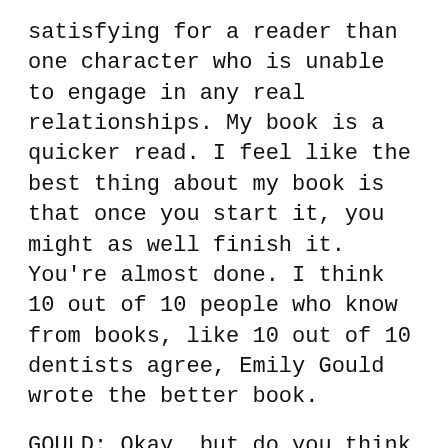satisfying for a reader than one character who is unable to engage in any real relationships. My book is a quicker read. I feel like the best thing about my book is that once you start it, you might as well finish it. You're almost done. I think 10 out of 10 people who know from books, like 10 out of 10 dentists agree, Emily Gould wrote the better book.
GOULD: Okay, but do you think your book was better, though?
SHAPIRO: No.
GOULD: [laughs] You're lying. You